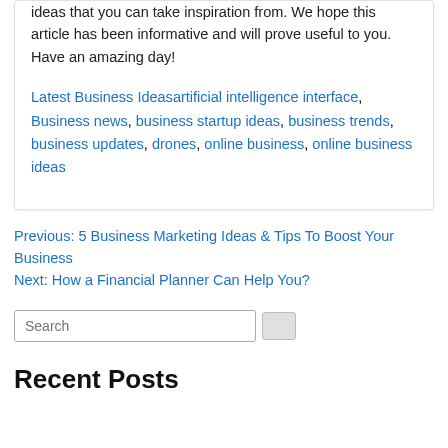We have discussed here some great startup ideas that you can take inspiration from. We hope this article has been informative and will prove useful to you. Have an amazing day!
Latest Business Ideasartificial intelligence interface, Business news, business startup ideas, business trends, business updates, drones, online business, online business ideas
Previous: 5 Business Marketing Ideas & Tips To Boost Your Business
Next: How a Financial Planner Can Help You?
Search
Recent Posts